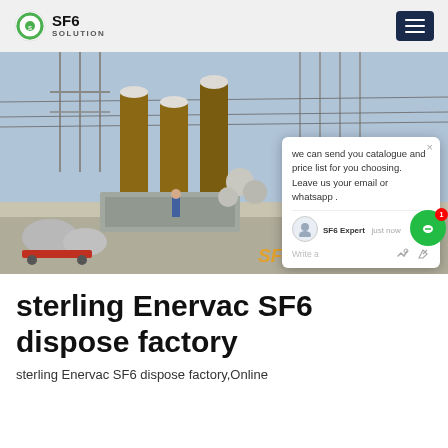SF6 SOLUTION
[Figure (photo): Electrical substation with SF6 gas equipment, transformers, high-voltage lines, and a yellow service truck. SF6China watermark visible. Chat popup overlay with message: 'we can send you catalogue and price list for you choosing. Leave us your email or whatsapp .']
sterling Enervac SF6 dispose factory
sterling Enervac SF6 dispose factory,Online